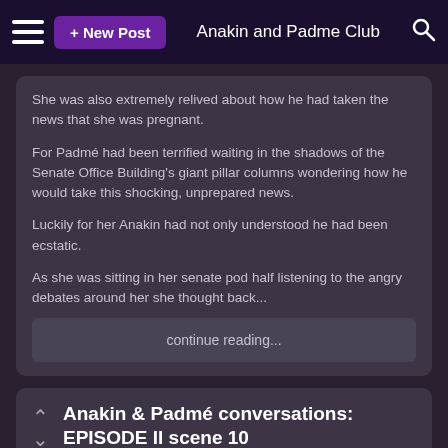Anakin and Padme Club
She was also extremely relived about how he had taken the news that she was pregnant.
For Padmé had been terrified waiting in the shadows of the Senate Office Building's giant pillar columns wondering how he would take this shocking, unprepared news.
Luckily for her Anakin had not only understood he had been ecstatic.
As she was sitting in her senate pod half listening to the angry debates around her she thought back...
continue reading...
Anakin & Padmé conversations: EPISODE II scene 10
posted by XNaley_JamesX
[Figure (photo): A photograph showing two characters from Star Wars, partially visible at the bottom of the page.]